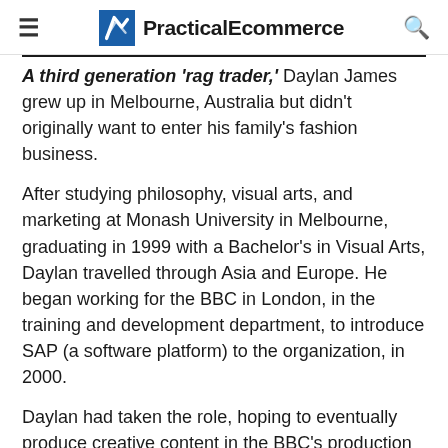Practical Ecommerce
A third generation 'rag trader,' Daylan James grew up in Melbourne, Australia but didn't originally want to enter his family's fashion business.
After studying philosophy, visual arts, and marketing at Monash University in Melbourne, graduating in 1999 with a Bachelor's in Visual Arts, Daylan travelled through Asia and Europe. He began working for the BBC in London, in the training and development department, to introduce SAP (a software platform) to the organization, in 2000.
Daylan had taken the role, hoping to eventually produce creative content in the BBC's production department. But he soon realized that was not possible. He returned to Melbourne in 2002.